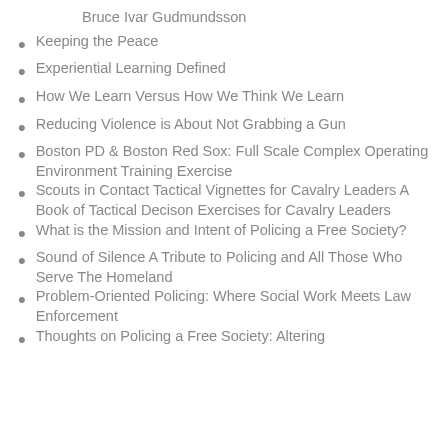Bruce Ivar Gudmundsson
Keeping the Peace
Experiential Learning Defined
How We Learn Versus How We Think We Learn
Reducing Violence is About Not Grabbing a Gun
Boston PD & Boston Red Sox: Full Scale Complex Operating Environment Training Exercise
Scouts in Contact Tactical Vignettes for Cavalry Leaders A Book of Tactical Decison Exercises for Cavalry Leaders
What is the Mission and Intent of Policing a Free Society?
Sound of Silence A Tribute to Policing and All Those Who Serve The Homeland
Problem-Oriented Policing: Where Social Work Meets Law Enforcement
Thoughts on Policing a Free Society: Altering